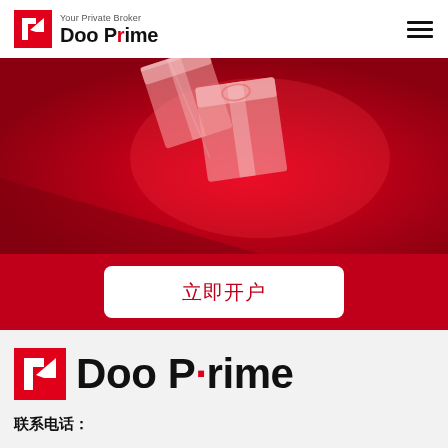Your Private Broker | Doo Prime
[Figure (photo): Red promotional banner with semi-transparent gift boxes on red background for Doo Prime broker]
立即开户
[Figure (logo): Doo Prime logo — red square icon with white arrow/pen mark, bold text Doo Prime with red dot on i]
联系电话：